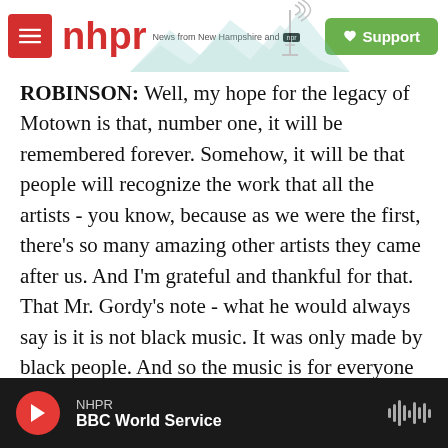nhpr — News from New Hampshire and NPR
ROBINSON: Well, my hope for the legacy of Motown is that, number one, it will be remembered forever. Somehow, it will be that people will recognize the work that all the artists - you know, because as we were the first, there's so many amazing other artists they came after us. And I'm grateful and thankful for that. That Mr. Gordy's note - what he would always say is it is not black music. It was only made by black people. And so the music is for everyone and for it to be remembered not only just as we speak, 2019, but in the year 3019 - that somehow, some way, people will know the artists, who they were and
NHPR — BBC World Service